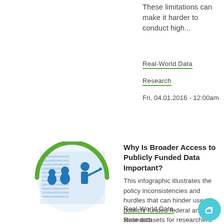These limitations can make it harder to conduct high...
Real-World Data
Research
Fri, 04.01.2016 - 12:00am
[Figure (logo): Circular logo with blue figures and data text background, green arc border, person pointing at data]
Why Is Broader Access to Publicly Funded Data Important?
This infographic illustrates the policy inconsistencies and hurdles that can hinder use of publicly funded federal and state datasets for researchers.
Real-World Data
Research
Thu, 03.31.2016 - 12:00am